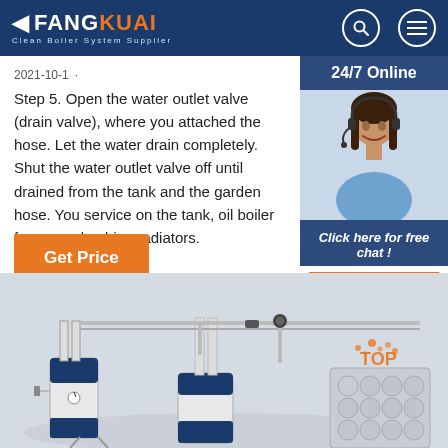FANGKUAI - Clean Boiler System Supplier
2021-10-1u2002·u2002Step 5. Open the water outlet valve (drain valve), where you attached the hose. Let the water drain completely. Shut the water outlet valve off until drained from the tank and the garden hose. You service on the tank, oil boiler furnace, plumbing radiators.
Get Price
[Figure (photo): Customer service representative woman with headset smiling, with 24/7 Online label and Click here for free chat! text with QUOTATION button, all on a dark blue background]
[Figure (photo): Industrial boiler equipment with pipes, valves, and cylindrical tanks in blue and white, showing boiler system components]